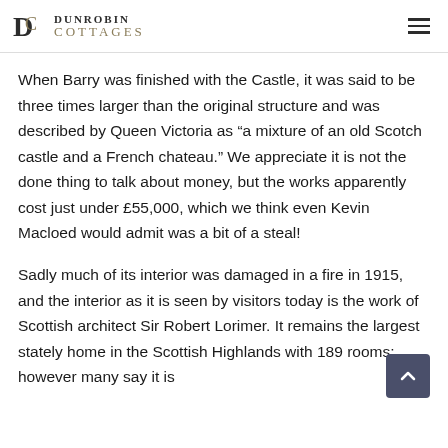Dunrobin Cottages
When Barry was finished with the Castle, it was said to be three times larger than the original structure and was described by Queen Victoria as “a mixture of an old Scotch castle and a French chateau.” We appreciate it is not the done thing to talk about money, but the works apparently cost just under £55,000, which we think even Kevin Macloed would admit was a bit of a steal!
Sadly much of its interior was damaged in a fire in 1915, and the interior as it is seen by visitors today is the work of Scottish architect Sir Robert Lorimer. It remains the largest stately home in the Scottish Highlands with 189 rooms; however many say it is